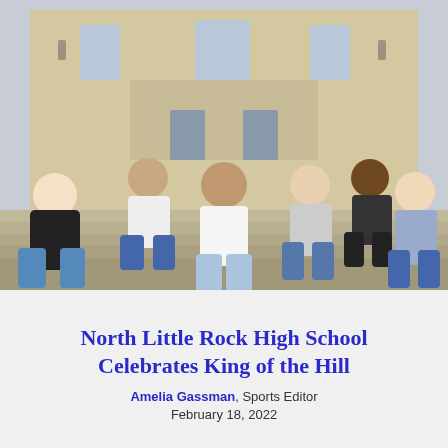[Figure (photo): Six young men sitting on outdoor stone steps in front of a large school building. They are casually dressed; the central figure wears an American Eagle white shirt and light jeans. Others wear a black jacket, plaid shirt, and white shirts. The building behind them has large windows and brick facade.]
North Little Rock High School Celebrates King of the Hill
Amelia Gassman, Sports Editor
February 18, 2022